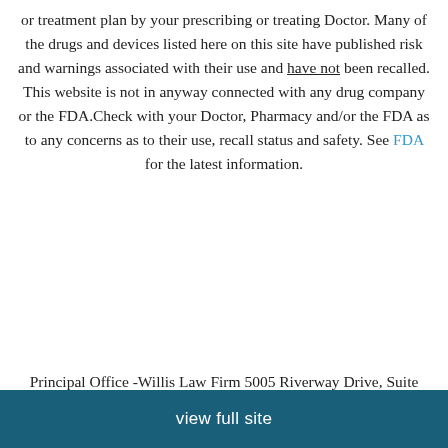or treatment plan by your prescribing or treating Doctor. Many of the drugs and devices listed here on this site have published risk and warnings associated with their use and have not been recalled. This website is not in anyway connected with any drug company or the FDA.Check with your Doctor, Pharmacy and/or the FDA as to any concerns as to their use, recall status and safety. See FDA for the latest information.
Principal Office -Willis Law Firm 5005 Riverway Drive, Suite #160 Houston, Texas 77056
view full site